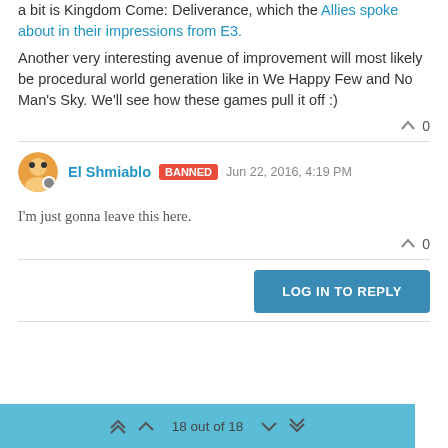a bit is Kingdom Come: Deliverance, which the Allies spoke about in their impressions from E3.
Another very interesting avenue of improvement will most likely be procedural world generation like in We Happy Few and No Man's Sky. We'll see how these games pull it off :)
0
El Shmiablo   Banned   Jun 22, 2016, 4:19 PM
I'm just gonna leave this here.
0
LOG IN TO REPLY
18 out of 18